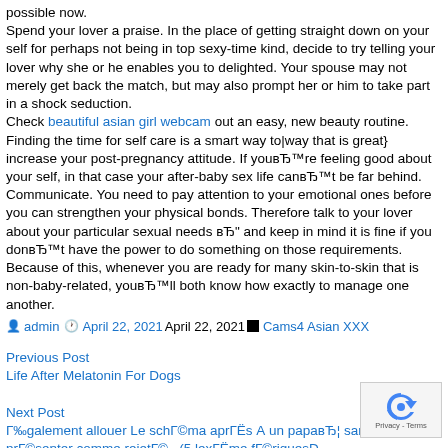possible now.
Spend your lover a praise. In the place of getting straight down on your self for perhaps not being in top sexy-time kind, decide to try telling your lover why she or he enables you to delighted. Your spouse may not merely get back the match, but may also prompt her or him to take part in a shock seduction.
Check beautiful asian girl webcam out an easy, new beauty routine. Finding the time for self care is a smart way to|way that is great} increase your post-pregnancy attitude. If youвЂ™re feeling good about your self, in that case your after-baby sex life canвЂ™t be far behind.
Communicate. You need to pay attention to your emotional ones before you can strengthen your physical bonds. Therefore talk to your lover about your particular sexual needs вЂ" and keep in mind it is fine if you donвЂ™t have the power to do something on those requirements. Because of this, whenever you are ready for many skin-to-skin that is non-baby-related, youвЂ™ll both know how exactly to manage one another.
admin April 22, 2021April 22, 2021 Cams4 Asian XXX
Previous Post
Life After Melatonin For Dogs
Next Post
Également allouer Le schéma après À un papaвЂ¦ sans av présenter comme rejeté . (5 lexième ffériquesD